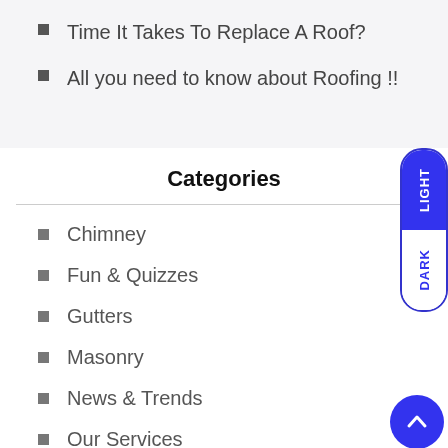Time It Takes To Replace A Roof?
All you need to know about Roofing !!
Categories
Chimney
Fun & Quizzes
Gutters
Masonry
News & Trends
Our Services